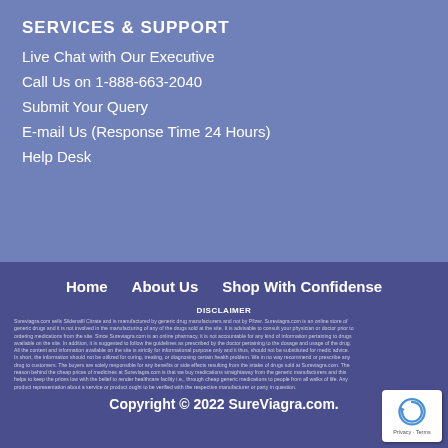SERVICES & SUPPORT
Live Chat with Our Executive
Call Us on 1-888-663-2040
Submit Your Query
E-mail Us (Response Time 24 Hours)
Help Desk
Home   About Us   Shop With Confidense
DISCLAIMER
Sureviagra.com sells Sildenafil Citrate and is manufactured by generic drug manufacturers and not by Pfizer. Sureviagra.com is an online store of generic drugs and it is not involved in the manufacturing of any of the drugs sold at the site. It is advisable to consult your physician or doctor prior to ordering medications from the site. Since Sureviagra.com is an online pharmacy, it is not accountable for any kind of information pertaining to drugs available on the site. In addition, it is suggested to follow the guidelines as prescribed by the doctor pertaining to the dosage and usage of the drug. All the content and information available on the site is strictly for informational purpose only and it thus, should not be substituted for medic advice. In short, the information should not be utilized for curing, treating, or diagnosing certain health problem. We in no way recommend or prescribe any drug to customers. The buyers are solely responsible for any benefits or side effects resulting from the intake of drugs sold at Sureviagra.com. The reason behind the cheap prices of medicines at Sureviagra.com is that we buy medications straightaway from the generic manufacturers and this helps to keep the prices low with the belief to render healthcare facility i.e., through cheap generic medications to people from all walks of life. Any product representation about a service or product ought to be verified with the respective manufacturer or party in question.
Copyright © 2022 SureViagra.com.